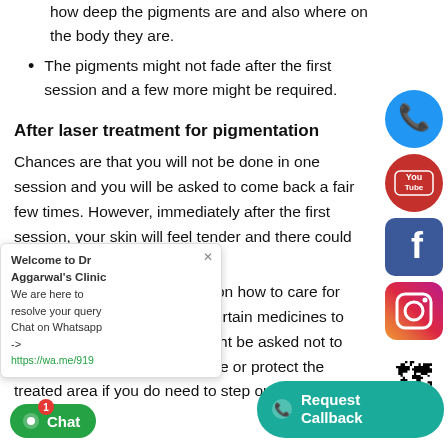how deep the pigments are and also where on the body they are.
The pigments might not fade after the first session and a few more might be required.
After laser treatment for pigmentation
Chances are that you will not be done in one session and you will be asked to come back a fair few times. However, immediately after the first session, your skin will feel tender and there could be some superficial bleeding.
You will be given instructions on how to care for your skin and also be given certain medicines to help with the healing. You might be asked not to step out into the sun for a while or protect the treated area if you do need to step out.
[Figure (screenshot): Social media icons on right side: phone (blue circle), YouTube (red), Facebook (blue), Instagram (gradient), Google Maps]
[Figure (screenshot): Chat popup: Welcome to Dr Aggarwal's Clinic. We are here to resolve your query. Chat on Whatsapp -> https://wa.me/919...]
[Figure (screenshot): Green Chat button with badge showing 1 at bottom left]
[Figure (screenshot): Teal Request Callback button at bottom right]